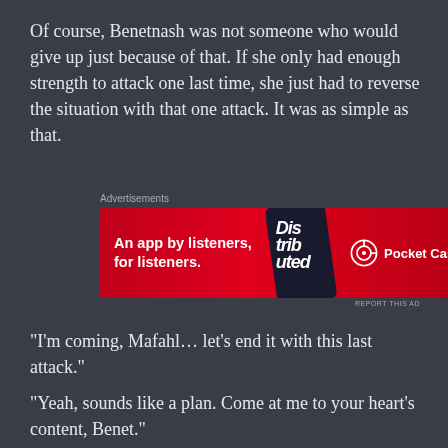Of course, Benetnash was not someone who would give up just because of that. If she only had enough strength to attack one last time, she just had to reverse the situation with that one attack. It was as simple as that.
[Figure (other): Advertisement banner for Pocket Casts app. Red background with text 'An app by listeners, for listeners.' and Pocket Casts logo on the right, with a phone graphic in the middle showing 'Distributed' text.]
“I’m coming, Mafahl… let’s end it with this last attack.”
“Yeah, sounds like a plan. Come at me to your heart’s content, Benet.”